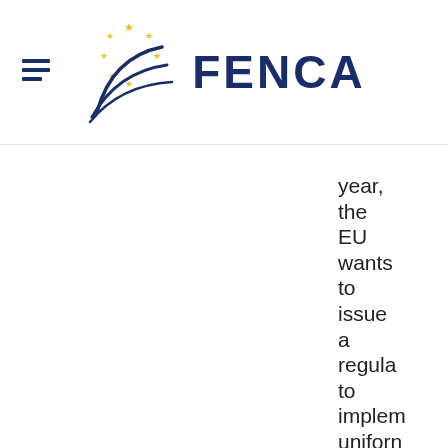FENCA
year, the EU wants to issue a regulation to implement uniform data protection standards across Europe